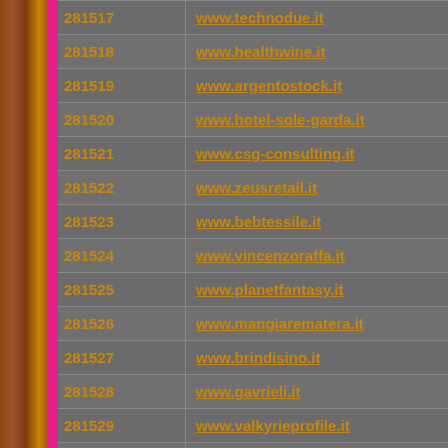| ID | URL |
| --- | --- |
| 281517 | www.technodue.it |
| 281518 | www.healthwine.it |
| 281519 | www.argentostock.it |
| 281520 | www.hotel-sole-garda.it |
| 281521 | www.csg-consulting.it |
| 281522 | www.zeusretail.it |
| 281523 | www.bebtessile.it |
| 281524 | www.vincenzoraffa.it |
| 281525 | www.planetfantasy.it |
| 281526 | www.mangiarematera.it |
| 281527 | www.brindisino.it |
| 281528 | www.gavrieli.it |
| 281529 | www.valkyrieprofile.it |
| 281530 | www.hotel-maria-theresia.it |
| 281531 | www.tecnoelettrica.it |